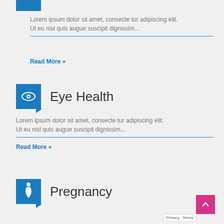[Figure (illustration): Partial blue square icon at top of page (previous section icon, cropped)]
Lorem ipsum dolor sit amet, consecte tur adipiscing elit. Ut eu nisl quis augue suscipit dignissim...
Read More »
Eye Health
[Figure (illustration): Blue square icon with white eye symbol and dog-ear fold at bottom right]
Lorem ipsum dolor sit amet, consecte tur adipiscing elit. Ut eu nisl quis augue suscipit dignissim...
Read More »
Pregnancy
[Figure (illustration): Blue square icon with white pregnant woman symbol and dog-ear fold at bottom right]
[Figure (illustration): Pink scroll-to-top button with chevron up arrow, and Privacy Terms bar]